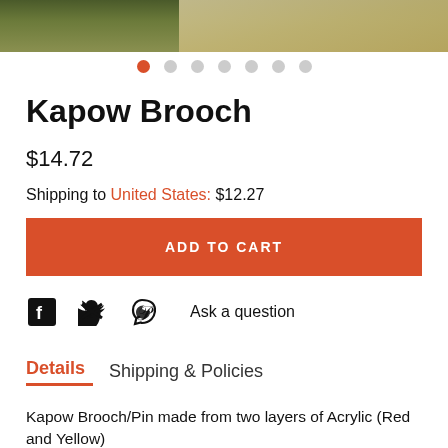[Figure (photo): Top portion of a product listing page showing a knitted/woven brooch item on green foliage background]
Kapow Brooch
$14.72
Shipping to United States: $12.27
ADD TO CART
Ask a question
Details
Shipping & Policies
Kapow Brooch/Pin made from two layers of Acrylic (Red and Yellow)